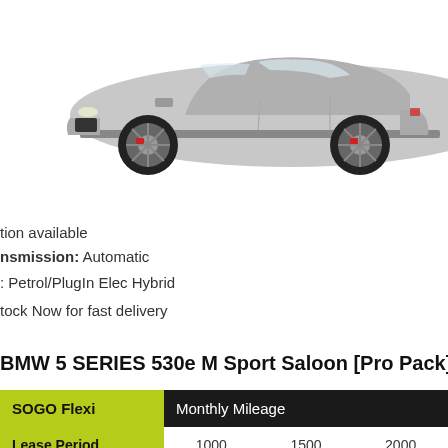[Figure (photo): BMW 5 Series 530e M Sport Saloon silver car, side/front view against white background]
tion available
nsmission: Automatic
: Petrol/PlugIn Elec Hybrid
tock Now for fast delivery
BMW 5 SERIES 530e M Sport Saloon [Pro Pack]
| SOGO Flexi | Monthly Mileage |  |  |
| --- | --- | --- | --- |
| Lease Period | 1000 | 1500 | 2000 |